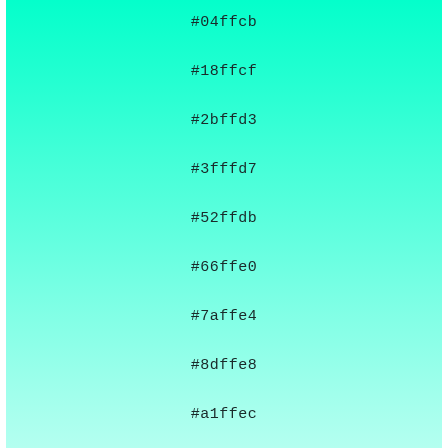#04ffcb
#18ffcf
#2bffd3
#3fffd7
#52ffdb
#66ffe0
#7affe4
#8dffe8
#a1ffec